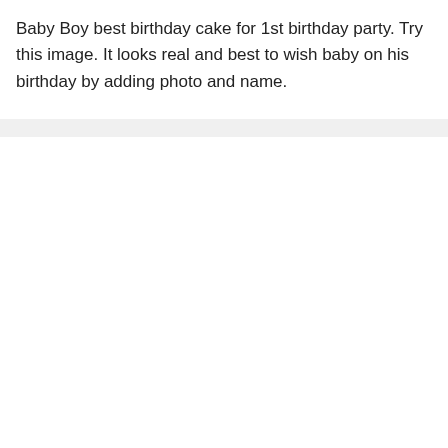Baby Boy best birthday cake for 1st birthday party. Try this image. It looks real and best to wish baby on his birthday by adding photo and name.